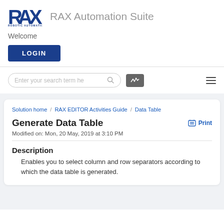[Figure (logo): RAX Robotic Automation Expert logo with blue bold text and tagline]
RAX Automation Suite
Welcome
LOGIN
Enter your search term he
Generate Data Table
Modified on: Mon, 20 May, 2019 at 3:10 PM
Print
Solution home / RAX EDITOR Activities Guide / Data Table
Description
Enables you to select column and row separators according to which the data table is generated.